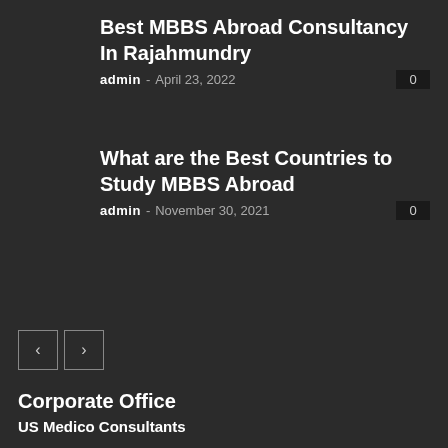Best MBBS Abroad Consultancy In Rajahmundry
admin - April 23, 2022   0
What are the Best Countries to Study MBBS Abroad
admin - November 30, 2021   0
Corporate Office
US Medico Consultants
203, Moghal Marg Building, Opp.Deepak Theatre, Near Narayanguda flyover, Himayathnagar, Hyderabad-500029
Phone: 08008000415, 09246178801